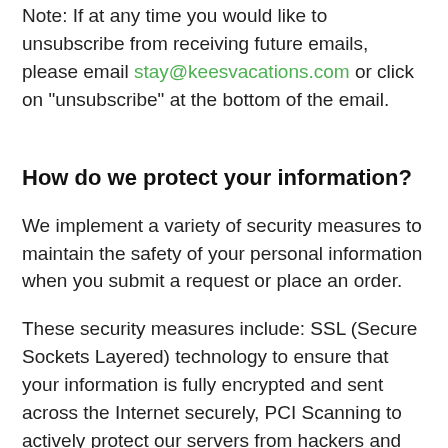Note: If at any time you would like to unsubscribe from receiving future emails, please email stay@keesvacations.com or click on "unsubscribe" at the bottom of the email.
How do we protect your information?
We implement a variety of security measures to maintain the safety of your personal information when you submit a request or place an order.
These security measures include: SSL (Secure Sockets Layered) technology to ensure that your information is fully encrypted and sent across the Internet securely, PCI Scanning to actively protect our servers from hackers and other vulnerabilities or Credit card information is securely stored until consumer has completed thier stay in the event of refunds, cancelations, or modifications to thier reservation.